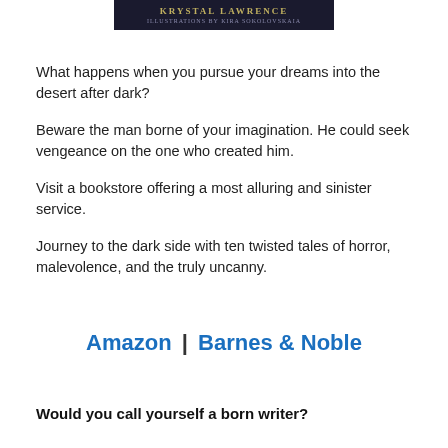[Figure (other): Dark banner with author name KRYSTAL LAWRENCE and Illustrations by Kira Sokolovskaia]
What happens when you pursue your dreams into the desert after dark?
Beware the man borne of your imagination. He could seek vengeance on the one who created him.
Visit a bookstore offering a most alluring and sinister service.
Journey to the dark side with ten twisted tales of horror, malevolence, and the truly uncanny.
Amazon | Barnes & Noble
Would you call yourself a born writer?